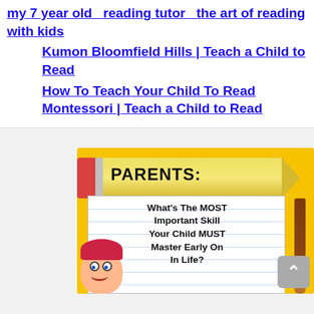my 7 year old  reading tutor  the art of reading with kids
Kumon Bloomfield Hills | Teach a Child to Read
How To Teach Your Child To Read Montessori | Teach a Child to Read
[Figure (infographic): Infographic with a pencil graphic and a notepad. Title reads 'PARENTS:' on a yellow pencil. Notepad text reads: 'What’s The MOST Important Skill Your Child MUST Master Early On In Life?' with a cartoon girl and paintbrush.]